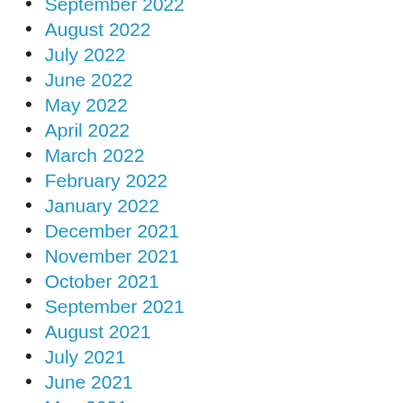September 2022
August 2022
July 2022
June 2022
May 2022
April 2022
March 2022
February 2022
January 2022
December 2021
November 2021
October 2021
September 2021
August 2021
July 2021
June 2021
May 2021